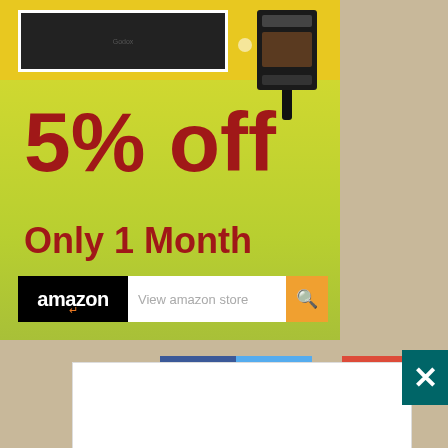[Figure (infographic): Amazon store advertisement banner with yellow-green gradient background, showing camera flash products, '5% off Only 1 Month' promotional text in dark red, Amazon logo with search bar]
5% off
Only 1 Month
[Figure (screenshot): Bottom portion of page showing white widget area with social media bar (Facebook blue, Twitter blue, Google red) and a teal/green Xing badge with white X logo in the top right]